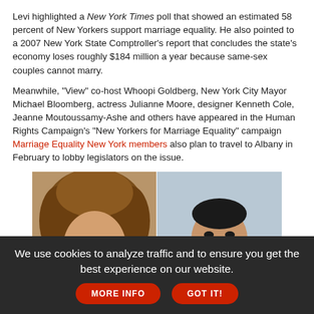Levi highlighted a New York Times poll that showed an estimated 58 percent of New Yorkers support marriage equality. He also pointed to a 2007 New York State Comptroller's report that concludes the state's economy loses roughly $184 million a year because same-sex couples cannot marry.
Meanwhile, "View" co-host Whoopi Goldberg, New York City Mayor Michael Bloomberg, actress Julianne Moore, designer Kenneth Cole, Jeanne Moutoussamy-Ashe and others have appeared in the Human Rights Campaign's "New Yorkers for Marriage Equality" campaign Marriage Equality New York members also plan to travel to Albany in February to lobby legislators on the issue.
[Figure (photo): Two side-by-side photos: on the left, a person with large curly hair and blue eye makeup; on the right, a man in dark clothing smiling at the camera.]
We use cookies to analyze traffic and to ensure you get the best experience on our website.